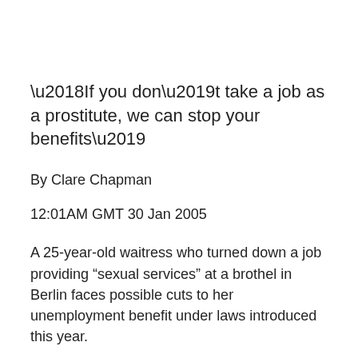‘If you don’t take a job as a prostitute, we can stop your benefits’
By Clare Chapman
12:01AM GMT 30 Jan 2005
A 25-year-old waitress who turned down a job providing “sexual services” at a brothel in Berlin faces possible cuts to her unemployment benefit under laws introduced this year.
Prostitution was legalised in Germany just over two years ago and brothel owners – who must pay tax and employee